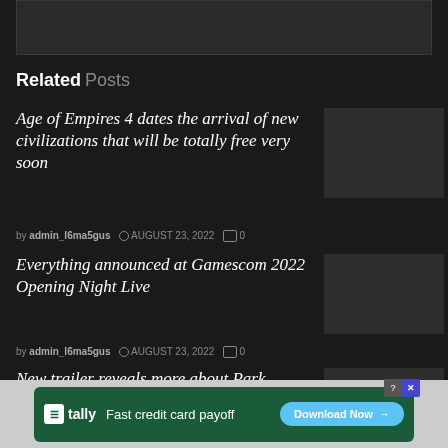[Figure (other): Dark placeholder image box at the top of the page]
Related Posts
Age of Empires 4 dates the arrival of new civilizations that will be totally free very soon
[Figure (photo): Thumbnail image placeholder for Age of Empires 4 article]
by admin_l6ma5gus   AUGUST 23, 2022   0
Everything announced at Gamescom 2022 Opening Night Live
[Figure (photo): Thumbnail image placeholder for Gamescom 2022 article]
by admin_l6ma5gus   AUGUST 23, 2022   0
New trailer reveals more about Park Beyond
[Figure (photo): Thumbnail image placeholder for Park Beyond article]
by admin_l6ma5gus   AUGUST 23, 2022   0
[Figure (other): Advertisement banner: Tally - Fast credit card payoff - Download Now button]